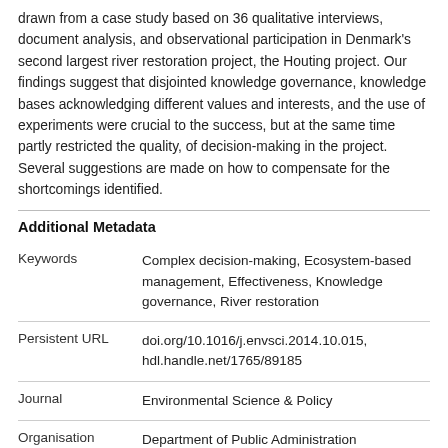drawn from a case study based on 36 qualitative interviews, document analysis, and observational participation in Denmark's second largest river restoration project, the Houting project. Our findings suggest that disjointed knowledge governance, knowledge bases acknowledging different values and interests, and the use of experiments were crucial to the success, but at the same time partly restricted the quality, of decision-making in the project. Several suggestions are made on how to compensate for the shortcomings identified.
Additional Metadata
|  |  |
| --- | --- |
| Keywords | Complex decision-making, Ecosystem-based management, Effectiveness, Knowledge governance, River restoration |
| Persistent URL | doi.org/10.1016/j.envsci.2014.10.015, hdl.handle.net/1765/89185 |
| Journal | Environmental Science & Policy |
| Organisation | Department of Public Administration |
| Citation | Giebels, D, van Buuren, M.W, & Edelenbos, J. |